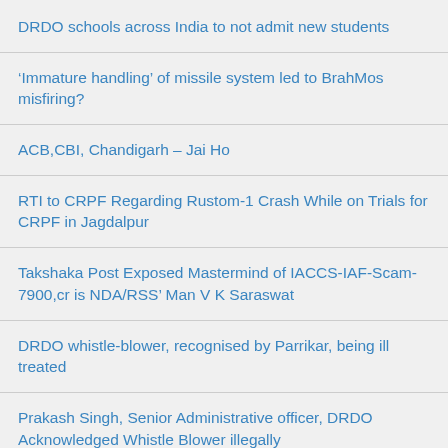DRDO schools across India to not admit new students
‘Immature handling’ of missile system led to BrahMos misfiring?
ACB,CBI, Chandigarh – Jai Ho
RTI to CRPF Regarding Rustom-1 Crash While on Trials for CRPF in Jagdalpur
Takshaka Post Exposed Mastermind of IACCS-IAF-Scam-7900,cr is NDA/RSS’ Man V K Saraswat
DRDO whistle-blower, recognised by Parrikar, being ill treated
Prakash Singh, Senior Administrative officer, DRDO Acknowledged Whistle Blower illegally